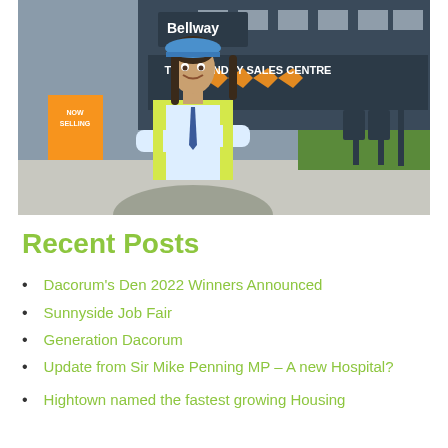[Figure (photo): Man wearing a blue hard hat and yellow hi-vis vest standing with arms crossed in front of The Foundry Sales Centre with a Bellway sign, smiling at camera]
Recent Posts
Dacorum's Den 2022 Winners Announced
Sunnyside Job Fair
Generation Dacorum
Update from Sir Mike Penning MP – A new Hospital?
Hightown named the fastest growing Housing